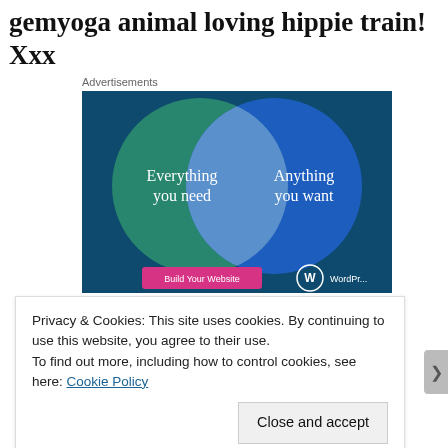gemyoga animal loving hippie train! Xxx
Advertisements
[Figure (illustration): Venn diagram advertisement on dark teal/blue background showing two overlapping circles: left circle (green-teal) labeled 'Everything you need', right circle (blue) labeled 'Anything you want', with overlapping intersection area. Bottom shows a pink 'Build Your Website' button and WordPress logo. WordPress advertisement.]
Privacy & Cookies: This site uses cookies. By continuing to use this website, you agree to their use.
To find out more, including how to control cookies, see here: Cookie Policy
Close and accept